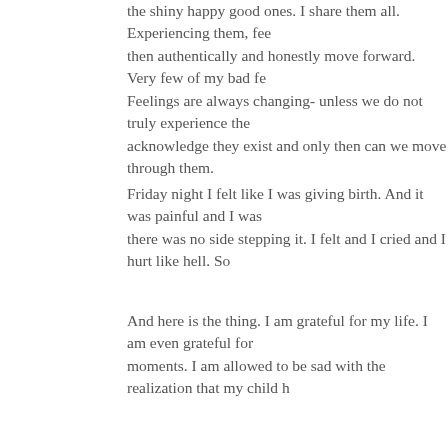the shiny happy good ones. I share them all. Experiencing them, feeling them, then authentically and honestly move forward. Very few of my bad feelings last. Feelings are always changing- unless we do not truly experience them. We must acknowledge they exist and only then can we move through them.
Friday night I felt like I was giving birth. And it was painful and I was not okay and there was no side stepping it. I felt and I cried and I hurt like hell. So
And here is the thing. I am grateful for my life. I am even grateful for these dark moments. I am allowed to be sad with the realization that my child h
I AM ALLOWED TO BE SAD. That doesn't mean I don't love my son or that I wish they didn't exist. If you really and honestly know me from my w we feel. Being sad that both of my boys have autism doesn't mean I means I am sad.
There were a very few number of people who were not okay with my best for the people we love. We all want our loved ones to be happy grateful that they are healthy. From my perspective, life with a signifi mildly autistic. I see them struggle daily, in a million different ways yo see their safety compromised from a delay in processing.
When you come to the realization that your child has autism- you are must feel. You must feel and then heal and move forward.  Most peo the kind and grace-filled comments and texts.